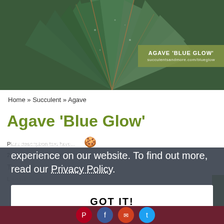[Figure (photo): Close-up photo of agave 'Blue Glow' plant leaves, dark green with reddish-orange edges, with a semi-transparent olive-green label overlay showing 'AGAVE "BLUE GLOW"' and a URL]
Home » Succulent » Agave
Agave 'Blue Glow'
We use cookies 🍪 to improve your experience on our website. To find out more, read our Privacy Policy.
GOT IT!